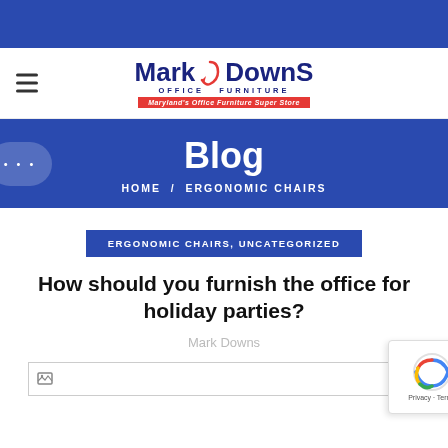[Figure (logo): Mark Downs Office Furniture logo with hamburger menu icon on the left]
Blog
HOME / ERGONOMIC CHAIRS
ERGONOMIC CHAIRS, UNCATEGORIZED
How should you furnish the office for holiday parties?
Mark Downs
[Figure (photo): Broken/loading image placeholder]